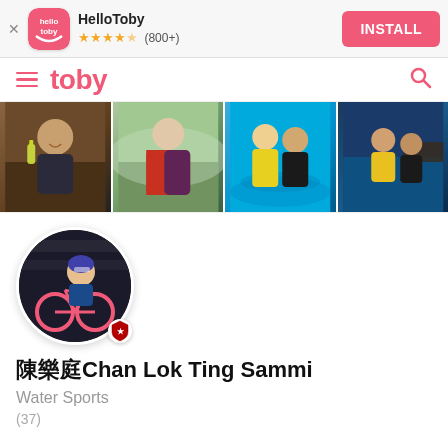[Figure (screenshot): HelloToby app install banner with logo, star rating (800+), and INSTALL button]
[Figure (screenshot): Toby navigation bar with hamburger menu, toby logo in pink, and search icon]
[Figure (photo): Four photos in a horizontal strip: man holding bottle, man outdoors in mountains, two children in pool, two people in pool]
[Figure (photo): Circular profile photo of Chan Lok Ting Sammi on a pink bicycle with a verified badge]
陳樂庭Chan Lok Ting Sammi
Water Sports
(37)